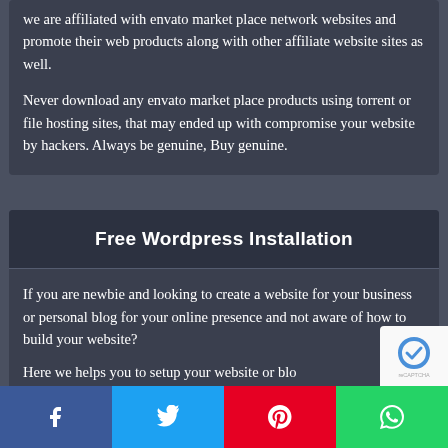we are affiliated with envato market place network websites and promote their web products along with other affiliate website sites as well.
Never download any envato market place products using torrent or file hosting sites, that may ended up with compromise your website by hackers. Always be genuine, Buy genuine.
Free Wordpress Installation
If you are newbie and looking to create a website for your business or personal blog for your online presence and not aware of how to build your website?
Here we helps you to setup your website or blo...